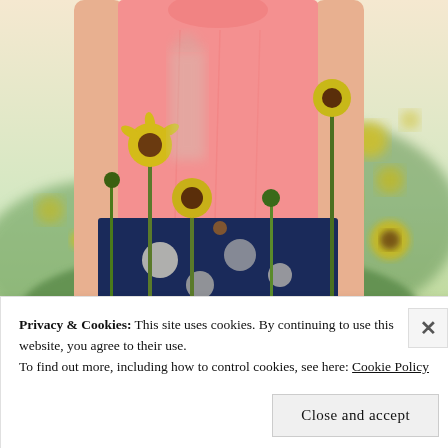[Figure (photo): Photograph of a child wearing a pink top and a navy floral skirt, standing in a field of yellow sunflowers with a blurred background.]
Privacy & Cookies: This site uses cookies. By continuing to use this website, you agree to their use.
To find out more, including how to control cookies, see here: Cookie Policy
Close and accept